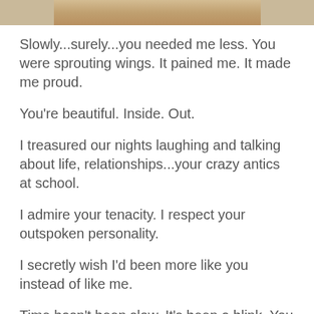[Figure (photo): Partial cropped photo visible at top of page, showing what appears to be a child or person, warm/sepia toned]
Slowly...surely...you needed me less. You were sprouting wings. It pained me. It made me proud.
You're beautiful. Inside. Out.
I treasured our nights laughing and talking about life, relationships...your crazy antics at school.
I admire your tenacity. I respect your outspoken personality.
I secretly wish I'd been more like you instead of like me.
Time hasn't been slow. It's been a blink. You fit